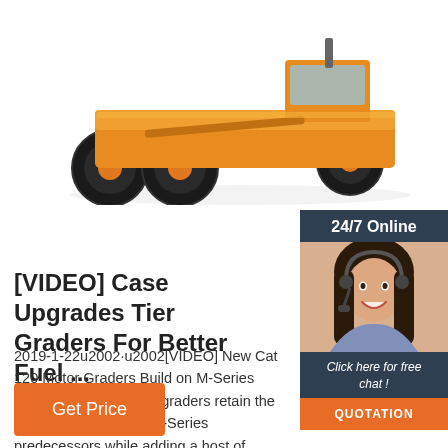[Figure (photo): Yellow heavy construction motor grader machine, partially visible from front-center, on white background]
[Figure (photo): 24/7 Online customer service widget showing a smiling woman with headset, dark blue background with 'Click here for free chat!' text and orange QUOTATION button]
[VIDEO] Case Upgrades Tier Graders For Better Fuel ...
2019-1-22u2002·u2002[VIDEO] New Cat 120 Motor Graders Build on M-Series Design The 140 motor graders retain the best features of their M-Series predecessors while adding a host of features to enhance ...
Get Price